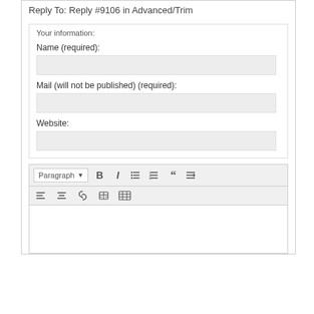Reply To: Reply #9106 in Advanced/Trim
Your information:
Name (required):
Mail (will not be published) (required):
Website:
[Figure (screenshot): Rich text editor toolbar with Paragraph dropdown, Bold, Italic, unordered list, ordered list, blockquote, align buttons, link, insert row/column, table icons]